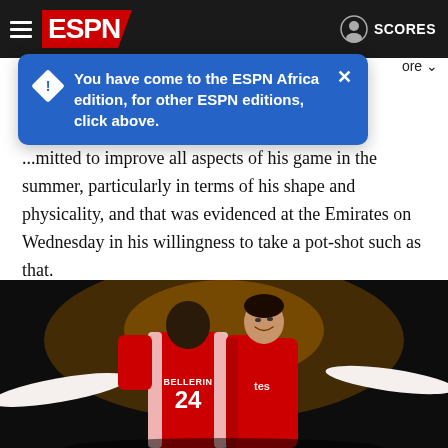[Figure (screenshot): ESPN website navigation bar with hamburger menu, ESPN logo in red, and SCORES button on the right with user icon]
You have come to the ESPN Africa edition, for other ESPN editions, click above.
...mitted to improve all aspects of his game in the summer, particularly in terms of his shape and physicality, and that was evidenced at the Emirates on Wednesday in his willingness to take a pot-shot such as that.
Before that, though, Walcott was the outlet to so frequently get behind the Ludogorets defence. He looks undroppable right now -- though you could say that about a few Arsenal players.
[Figure (photo): Two Arsenal footballers celebrating, one wearing Bellerin #24 jersey, with arms outstretched in celebration. Dark stadium background.]